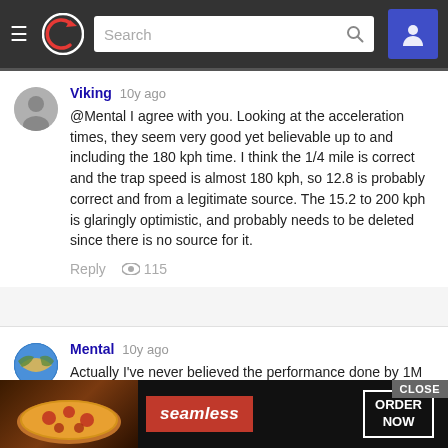Navigation bar with hamburger menu, logo, search box, and user icon
Viking 10y ago
@Mental I agree with you. Looking at the acceleration times, they seem very good yet believable up to and including the 180 kph time. I think the 1/4 mile is correct and the trap speed is almost 180 kph, so 12.8 is probably correct and from a legitimate source. The 15.2 to 200 kph is glaringly optimistic, and probably needs to be deleted since there is no source for it.
Reply 👁 115
Mental 10y ago
Actually I've never believed the performance done by 1M Coupe. It actually uses the same engine as in Z4sDrive 35is. Though the 1 weighs almost 100 kg less and has better aerodynamics, but still, such a huge performance difference between them is unbelievable. And 1M uses s...
[Figure (screenshot): Advertisement banner for Seamless food ordering with pizza image, Seamless logo in red, and ORDER NOW button]